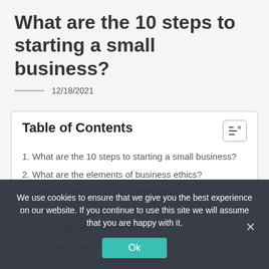What are the 10 steps to starting a small business?
12/18/2021
Table of Contents
1. What are the 10 steps to starting a small business?
2. What are the elements of business ethics?
3. What are the 3 C's of business ethics?
4. Are business ethics important for profitability?
5. What is growth in business?
6. How can a business develop growth?
9. What are the 3 skills of a chief development executive?
10. What is the growth strategy?
We use cookies to ensure that we give you the best experience on our website. If you continue to use this site we will assume that you are happy with it.